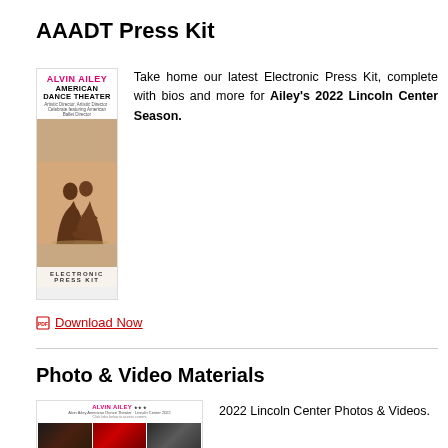AAADT Press Kit
[Figure (photo): Alvin Ailey American Dance Theater Electronic Press Kit cover showing two dancers seated intimately with text 'ALVIN AILEY AMERICAN DANCE THEATER' and 'ELECTRONIC PRESS KIT']
Take home our latest Electronic Press Kit, complete with bios and more for Ailey's 2022 Lincoln Center Season.
Download Now
Photo & Video Materials
[Figure (photo): Alvin Ailey American Dance Theater photo and video materials thumbnail grid showing multiple performance photos]
2022 Lincoln Center Photos & Videos.